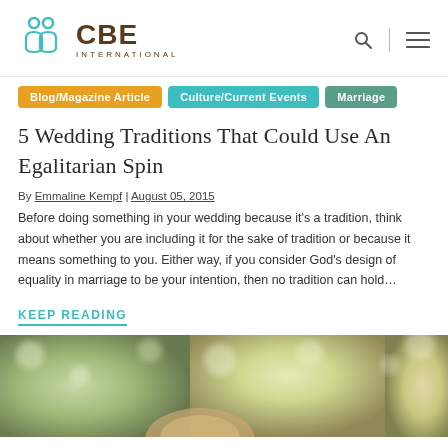CBE INTERNATIONAL
Blog/Magazine Article
Culture/Current Events
Marriage
5 Wedding Traditions That Could Use An Egalitarian Spin
By Emmaline Kempf | August 05, 2015
Before doing something in your wedding because it's a tradition, think about whether you are including it for the sake of tradition or because it means something to you. Either way, if you consider God's design of equality in marriage to be your intention, then no tradition can hold…
KEEP READING
[Figure (photo): Outdoor wedding or couple photo with bokeh background, green trees and warm light]